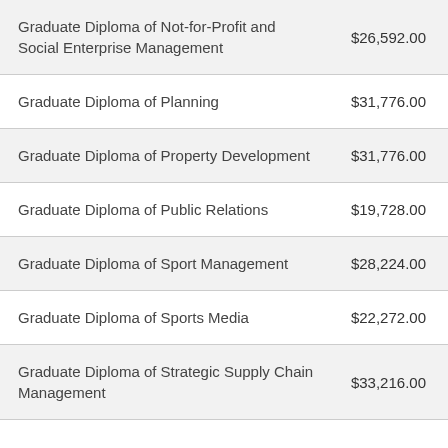| Program | Fee |
| --- | --- |
| Graduate Diploma of Not-for-Profit and Social Enterprise Management | $26,592.00 |
| Graduate Diploma of Planning | $31,776.00 |
| Graduate Diploma of Property Development | $31,776.00 |
| Graduate Diploma of Public Relations | $19,728.00 |
| Graduate Diploma of Sport Management | $28,224.00 |
| Graduate Diploma of Sports Media | $22,272.00 |
| Graduate Diploma of Strategic Supply Chain Management | $33,216.00 |